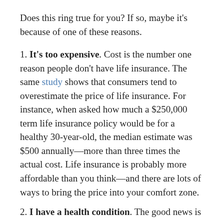Does this ring true for you? If so, maybe it's because of one of these reasons.
1. It's too expensive. Cost is the number one reason people don't have life insurance. The same study shows that consumers tend to overestimate the price of life insurance. For instance, when asked how much a $250,000 term life insurance policy would be for a healthy 30-year-old, the median estimate was $500 annually—more than three times the actual cost. Life insurance is probably more affordable than you think—and there are lots of ways to bring the price into your comfort zone.
2. I have a health condition. The good news is